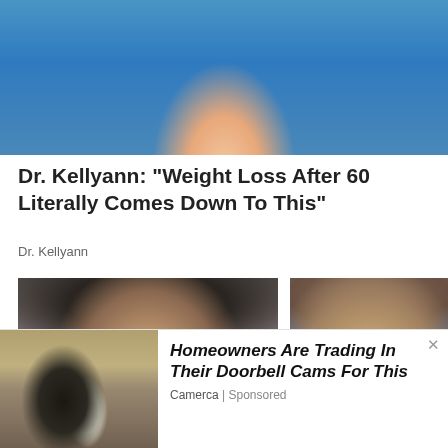[Figure (photo): Partial photo of a woman with blonde hair wearing a blue top, cropped at the neckline/shoulder area, on a blue background]
Dr. Kellyann: "Weight Loss After 60 Literally Comes Down To This"
Dr. Kellyann
[Figure (photo): Close-up portrait of a dark-haired man with an intense expression, looking slightly downward]
[Figure (photo): Portrait of a smiling man with short brown hair against a blue background]
[Figure (photo): Photo of a security camera mounted on a stone/stucco wall exterior]
Homeowners Are Trading In Their Doorbell Cams For This
Camerca | Sponsored